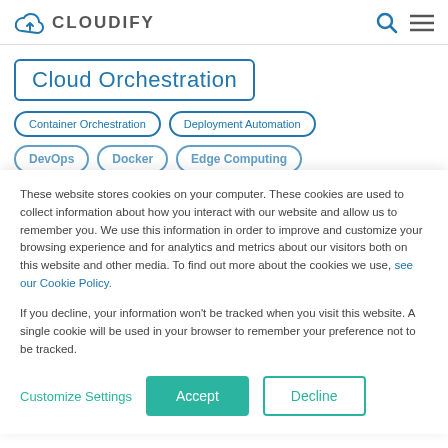CLOUDIFY
Cloud Orchestration
Container Orchestration
Deployment Automation
DevOps   Docker   Edge Computing
These website stores cookies on your computer. These cookies are used to collect information about how you interact with our website and allow us to remember you. We use this information in order to improve and customize your browsing experience and for analytics and metrics about our visitors both on this website and other media. To find out more about the cookies we use, see our Cookie Policy.

If you decline, your information won't be tracked when you visit this website. A single cookie will be used in your browser to remember your preference not to be tracked.
Customize Settings
Accept
Decline